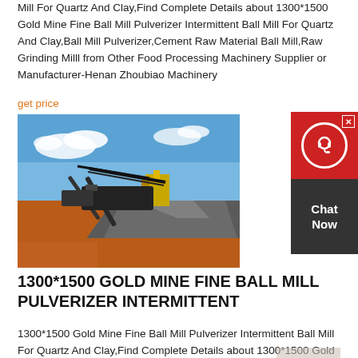Mill For Quartz And Clay,Find Complete Details about 1300*1500 Gold Mine Fine Ball Mill Pulverizer Intermittent Ball Mill For Quartz And Clay,Ball Mill Pulverizer,Cement Raw Material Ball Mill,Raw Grinding Milll from Other Food Processing Machinery Supplier or Manufacturer-Henan Zhoubiao Machinery
get price
[Figure (photo): Industrial mining/crushing plant with conveyor belts and large piles of aggregate/gravel on red dirt ground under blue sky]
[Figure (other): Chat Now customer service widget with red circular icon and dark background]
1300*1500 GOLD MINE FINE BALL MILL PULVERIZER INTERMITTENT
1300*1500 Gold Mine Fine Ball Mill Pulverizer Intermittent Ball Mill For Quartz And Clay,Find Complete Details about 1300*1500 Gold Mine Fine Ball Mill Pulverizer Intermittent Ball Mill For